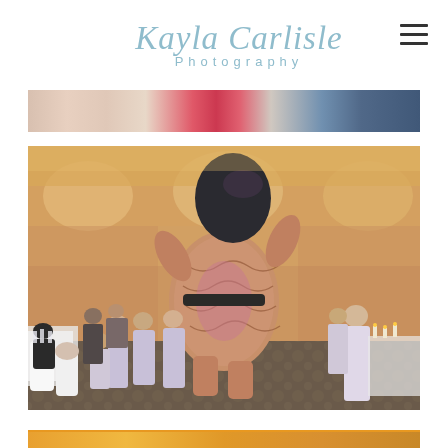Kayla Carlisle Photography
[Figure (photo): Cropped top portion of a wedding reception photo showing colorful dresses and decorations]
[Figure (photo): Wedding reception photo showing someone in an inflatable T-Rex dinosaur costume dancing among bridesmaids in lavender gowns inside a hotel ballroom with warm amber lighting]
[Figure (photo): Bottom strip of another photo with orange/golden tones partially visible]